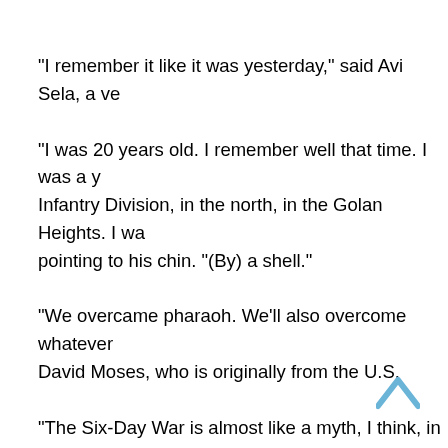“I remember it like it was yesterday,” said Avi Sela, a ve…
“I was 20 years old. I remember well that time. I was a y… Infantry Division, in the north, in the Golan Heights. I wa… pointing to his chin. “(By) a shell.”
“We overcame pharaoh. We’ll also overcome whatever… David Moses, who is originally from the U.S.
“The Six-Day War is almost like a myth, I think, in the Is… Kobe from Tel Aviv. “It was a sign of Israel’s strength an… against all odds. It’s sort of like Israel’s military DNA wa… Day War.”
“It’s a very important war in the history of Israel,” said 2…